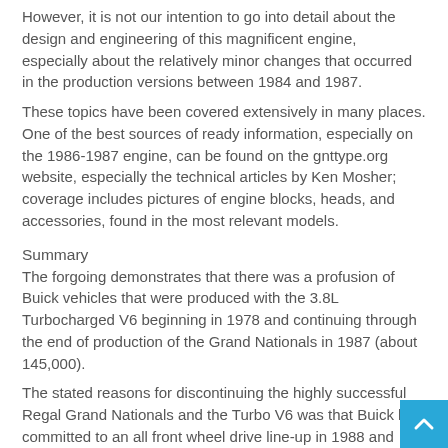However, it is not our intention to go into detail about the design and engineering of this magnificent engine, especially about the relatively minor changes that occurred in the production versions between 1984 and 1987. These topics have been covered extensively in many places. One of the best sources of ready information, especially on the 1986-1987 engine, can be found on the gnttype.org website, especially the technical articles by Ken Mosher; coverage includes pictures of engine blocks, heads, and accessories, found in the most relevant models.
Summary
The forgoing demonstrates that there was a profusion of Buick vehicles that were produced with the 3.8L Turbocharged V6 beginning in 1978 and continuing through the end of production of the Grand Nationals in 1987 (about 145,000). The stated reasons for discontinuing the highly successful Regal Grand Nationals and the Turbo V6 was that Buick had committed to an all front wheel drive line-up in 1988 and there was no front transaxle around that could handle the torque and power of the Turbo motor.